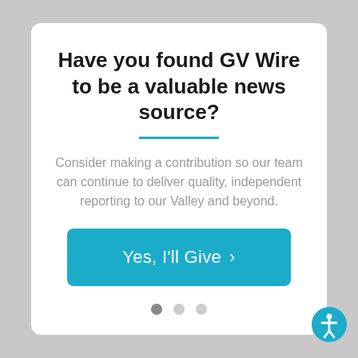Have you found GV Wire to be a valuable news source?
Consider making a contribution so our team can continue to deliver quality, independent reporting to our Valley and beyond.
Yes, I'll Give  >